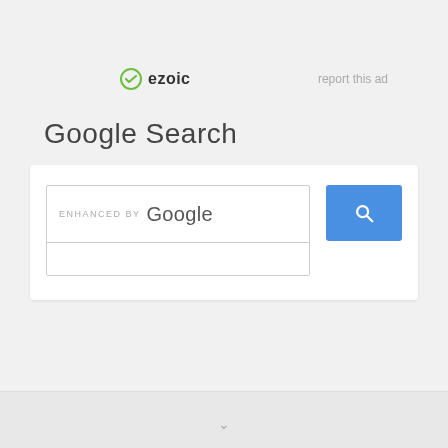[Figure (logo): Ezoic logo with green circular icon and bold 'ezoic' text]
report this ad
Google Search
[Figure (screenshot): Google custom search widget showing 'ENHANCED BY Google' text in search input box with blue search button containing magnifying glass icon]